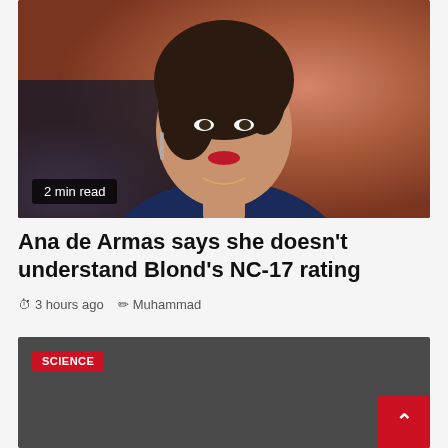[Figure (photo): Portrait photo of Ana de Armas in a blue blazer with red lipstick against a warm orange-red background, with dark upswept hair and drop earrings]
2 min read
Ana de Armas says she doesn't understand Blond's NC-17 rating
3 hours ago  Muhammad
[Figure (photo): Dark gray card with SCIENCE category badge in red, bottom section of a science article card]
SCIENCE